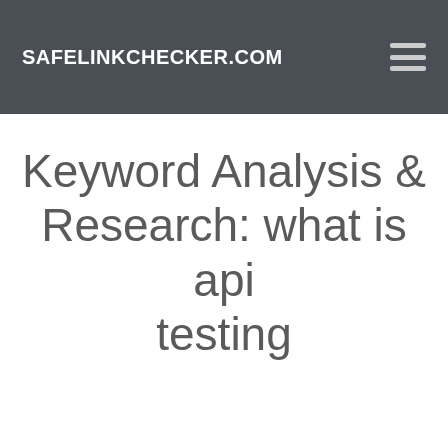SAFELINKCHECKER.COM
Keyword Analysis & Research: what is api testing